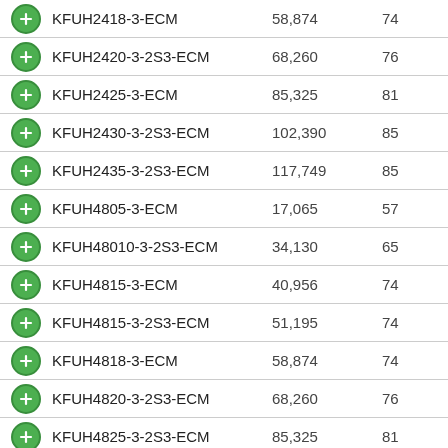|  | Model | BTU/h | SEER |
| --- | --- | --- | --- |
|  | KFUH2418-3-ECM | 58,874 | 74 |
|  | KFUH2420-3-2S3-ECM | 68,260 | 76 |
|  | KFUH2425-3-ECM | 85,325 | 81 |
|  | KFUH2430-3-2S3-ECM | 102,390 | 85 |
|  | KFUH2435-3-2S3-ECM | 117,749 | 85 |
|  | KFUH4805-3-ECM | 17,065 | 57 |
|  | KFUH48010-3-2S3-ECM | 34,130 | 65 |
|  | KFUH4815-3-ECM | 40,956 | 74 |
|  | KFUH4815-3-2S3-ECM | 51,195 | 74 |
|  | KFUH4818-3-ECM | 58,874 | 74 |
|  | KFUH4820-3-2S3-ECM | 68,260 | 76 |
|  | KFUH4825-3-2S3-ECM | 85,325 | 81 |